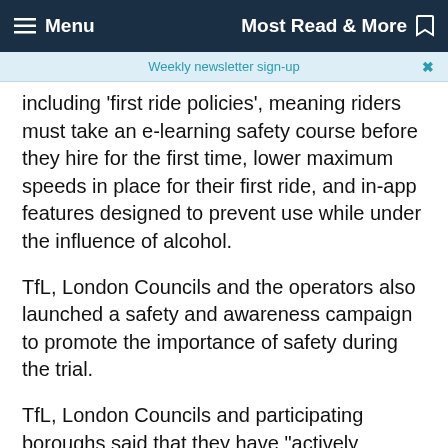Menu | Most Read & More
Weekly newsletter sign-up
including 'first ride policies', meaning riders must take an e-learning safety course before they hire for the first time, lower maximum speeds in place for their first ride, and in-app features designed to prevent use while under the influence of alcohol.
TfL, London Councils and the operators also launched a safety and awareness campaign to promote the importance of safety during the trial.
TfL, London Councils and participating boroughs said that they have "actively engaged" with people with accessibility needs throughout the development of the trial and will continue to do so as the trial continues, including with TfL's Independent Disability Advisory Group.